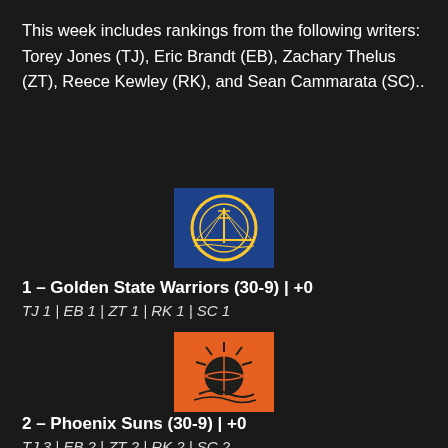This week includes rankings from the following writers: Torey Jones (TJ), Eric Brandt (EB), Zachary Thelus (ZT), Reece Kewley (RK), and Sean Cammarata (SC)..
[Figure (logo): Golden State Warriors logo — blue background with golden bridge/ball circle design]
1 – Golden State Warriors (30-9) | +0
TJ 1 | EB 1 | ZT 1 | RK 1 | SC 1
[Figure (logo): Phoenix Suns logo — orange background with basketball and sunburst design]
2 – Phoenix Suns (30-9) | +0
TJ 3 | EB 2 | ZT 2 | RK 2 | SC 2